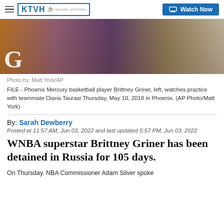KTVH | Watch Now
[Figure (photo): Phoenix Mercury basketball player Brittney Griner and teammate during practice, with a large 'G' watermark visible in the lower left, orange and purple tones.]
Photo by: Matt York/AP
FILE - Phoenix Mercury basketball player Brittney Griner, left, watches practice with teammate Diana Taurasi Thursday, May 10, 2018 in Phoenix. (AP Photo/Matt York)
By: Sarah Dewberry
Posted at 11:57 AM, Jun 03, 2022 and last updated 5:57 PM, Jun 03, 2022
WNBA superstar Brittney Griner has been detained in Russia for 105 days.
On Thursday, NBA Commissioner Adam Silver spoke at the annual NBA Finals Media calling for